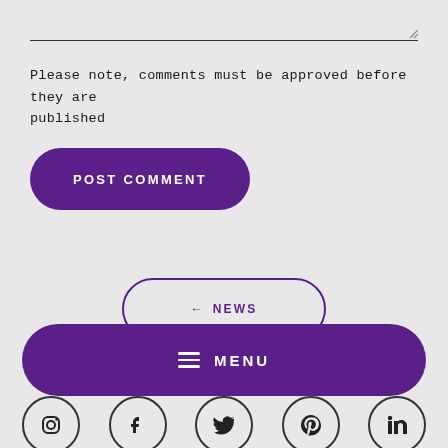[Figure (other): Text input area with a horizontal bottom border line and a resize handle icon at the bottom right]
Please note, comments must be approved before they are published
[Figure (other): Purple rounded button labeled POST COMMENT]
[Figure (other): White/outline rounded button with left arrow icon labeled NEWS]
[Figure (other): Purple rounded rectangle menu bar with hamburger icon and MENU text]
[Figure (other): Row of circular social media icons (Instagram, Facebook, Twitter, Pinterest, LinkedIn) partially visible at bottom]